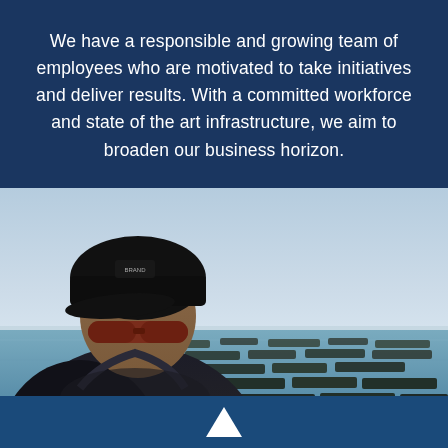We have a responsible and growing team of employees who are motivated to take initiatives and deliver results. With a committed workforce and state of the art infrastructure, we aim to broaden our business horizon.
[Figure (photo): A man wearing a dark cap, sunglasses, and dark jacket, photographed outdoors near the sea with oyster farming beds visible in the water background and a light blue sky.]